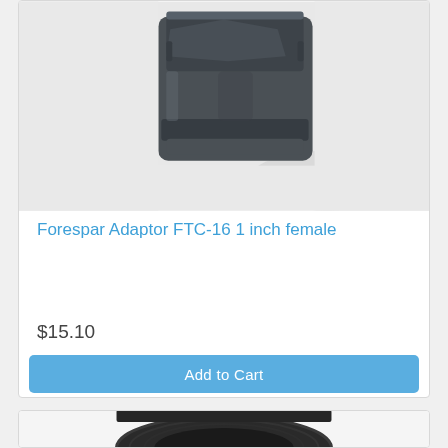[Figure (photo): Photo of a dark gray/black plastic PVC pipe fitting adapter (Forespar Adaptor FTC-16 1 inch female), showing a hex nut top section with ridged barrel, photographed on white background. Only lower portion of the product card is visible at top.]
Forespar Adaptor FTC-16 1 inch female
$15.10
Add to Cart
[Figure (photo): Photo of a black threaded ring/coupling fitting, partially visible at the bottom of the page.]